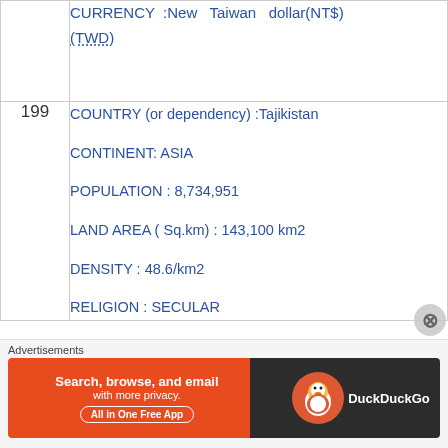| # | Details |
| --- | --- |
|  | CURRENCY :New Taiwan dollar(NT$)(TWD) |
| 199 | COUNTRY (or dependency) :Tajikistan
CONTINENT: ASIA
POPULATION : 8,734,951
LAND AREA ( Sq.km) : 143,100 km2
DENSITY : 48.6/km2
RELIGION : SECULAR |
Advertisements